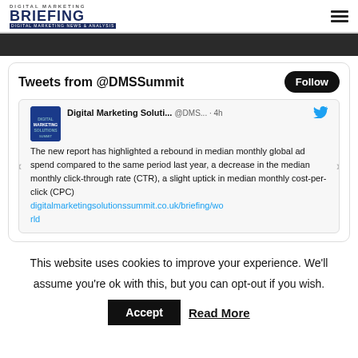DIGITAL MARKETING BRIEFING - DIGITAL MARKETING NEWS & ANALYSIS
Tweets from @DMSSummit
Digital Marketing Soluti... @DMS... · 4h
The new report has highlighted a rebound in median monthly global ad spend compared to the same period last year, a decrease in the median monthly click-through rate (CTR), a slight uptick in median monthly cost-per-click (CPC) digitalmarketingsolutionssummit.co.uk/briefing/world
This website uses cookies to improve your experience. We'll assume you're ok with this, but you can opt-out if you wish.
Accept  Read More